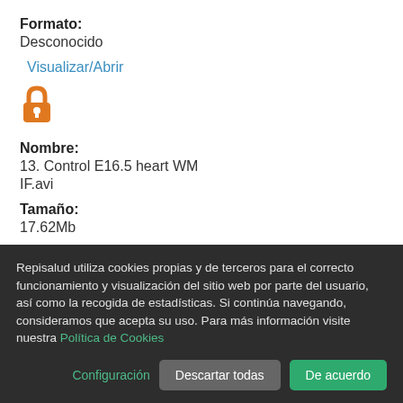Formato: Desconocido
Visualizar/Abrir
[Figure (illustration): Open access padlock icon in orange]
Nombre: 13. Control E16.5 heart WM IF.avi
Tamaño: 17.62Mb
Formato: Desconocido
Repisalud utiliza cookies propias y de terceros para el correcto funcionamiento y visualización del sitio web por parte del usuario, así como la recogida de estadísticas. Si continúa navegando, consideramos que acepta su uso. Para más información visite nuestra Política de Cookies
Configuración
Descartar todas
De acuerdo